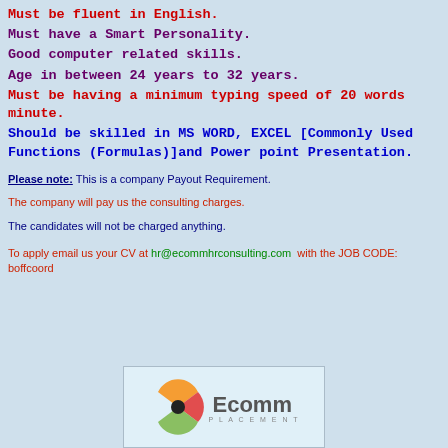Must be fluent in English.
Must have a Smart Personality.
Good computer related skills.
Age in between 24 years to 32 years.
Must be having a minimum typing speed of 20 words minute.
Should be skilled in MS WORD, EXCEL [Commonly Used Functions (Formulas)]and Power point Presentation.
Please note: This is a company Payout Requirement.
The company will pay us the consulting charges.
The candidates will not be charged anything.
To apply email us your CV at hr@ecommhrconsulting.com with the JOB CODE: boffcoord
[Figure (logo): Ecomm Placement logo with colorful circular icon and grey text]